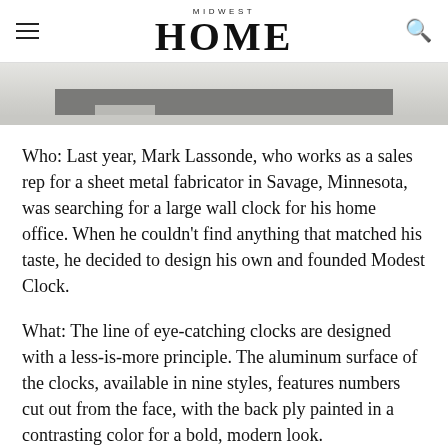MIDWEST HOME
[Figure (photo): Partial view of a modern floor with gray area rug/mat, light wood or concrete surface, photographed from above]
Who: Last year, Mark Lassonde, who works as a sales rep for a sheet metal fabricator in Savage, Minnesota, was searching for a large wall clock for his home office. When he couldn't find anything that matched his taste, he decided to design his own and founded Modest Clock.
What: The line of eye-catching clocks are designed with a less-is-more principle. The aluminum surface of the clocks, available in nine styles, features numbers cut out from the face, with the back ply painted in a contrasting color for a bold, modern look.